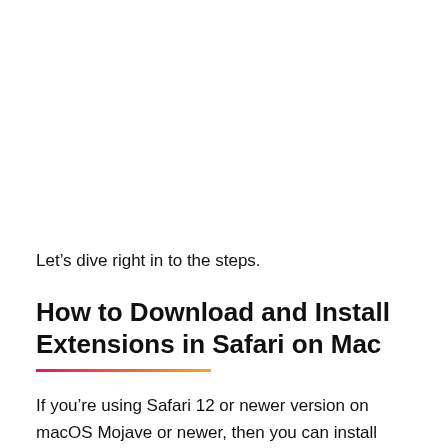Let’s dive right in to the steps.
How to Download and Install Extensions in Safari on Mac
If you’re using Safari 12 or newer version on macOS Mojave or newer, then you can install extensions from the App Store. And if you want to install extensions in Safari 11 or older f